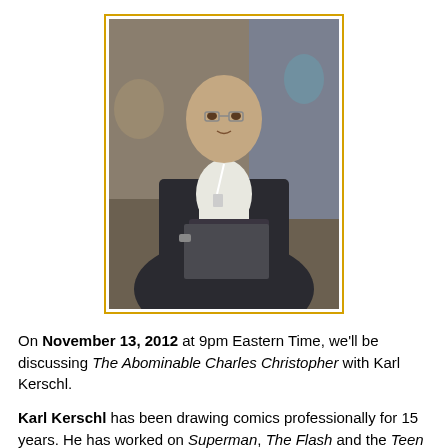[Figure (photo): A bald man sitting at a table, wearing a white shirt and dark jacket, holding a pen, with people in the background. Photo has an orange/gold border.]
On November 13, 2012 at 9pm Eastern Time, we'll be discussing The Abominable Charles Christopher with Karl Kerschl.
Karl Kerschl has been drawing comics professionally for 15 years. He has worked on Superman, The Flash and the Teen Titans, among other heroic things, and has also published collections of his weekly webcomic, The Abominable Charles Christopher, the second volume of which is now available. He lives in Montréal with his wife and his cat, Jacques Cousteau.